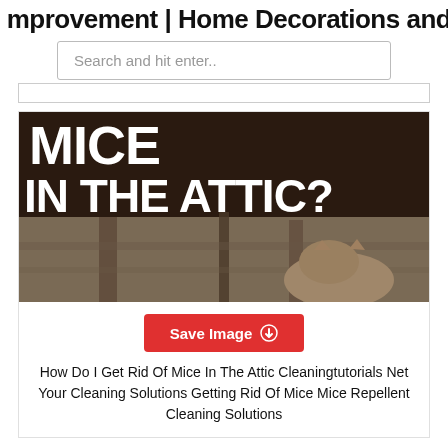mprovement | Home Decorations and
Search and hit enter..
[Figure (photo): Dark brown banner with white bold text 'MICE IN THE ATTIC?' overlaid on a photo of a mouse/cat in an attic-like wooden space]
Save Image
How Do I Get Rid Of Mice In The Attic Cleaningtutorials Net Your Cleaning Solutions Getting Rid Of Mice Mice Repellent Cleaning Solutions